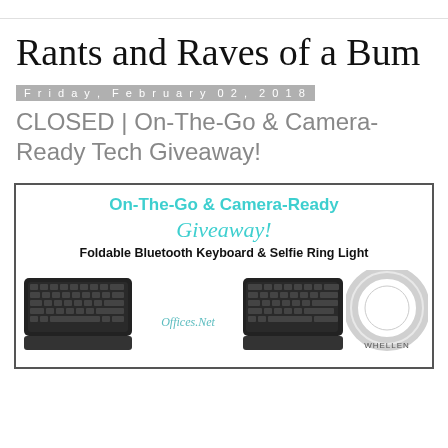Rants and Raves of a Bum
Friday, February 02, 2018
CLOSED | On-The-Go & Camera-Ready Tech Giveaway!
[Figure (illustration): Promotional giveaway banner for 'On-The-Go & Camera-Ready Giveaway!' featuring a Foldable Bluetooth Keyboard and Selfie Ring Light. Shows two keyboard halves (folded Bluetooth keyboard) and a circular ring light, with text 'Offices.Net' and 'WHELLEN' branding.]